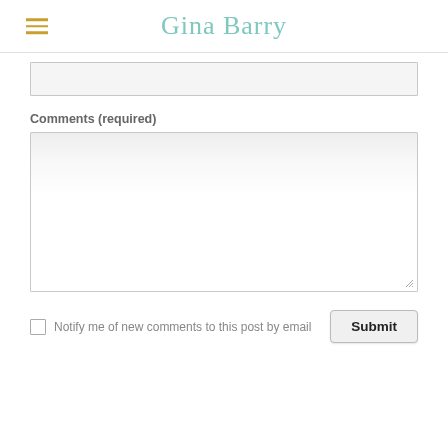Gina Barry
[Figure (screenshot): A partially visible text input field at the top of a web form]
Comments (required)
[Figure (screenshot): A large textarea input box for user comments]
Notify me of new comments to this post by email
[Figure (screenshot): Submit button]